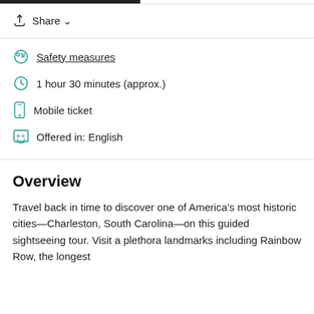Share
Safety measures
1 hour 30 minutes (approx.)
Mobile ticket
Offered in: English
Overview
Travel back in time to discover one of America's most historic cities—Charleston, South Carolina—on this guided sightseeing tour. Visit a plethora landmarks including Rainbow Row, the longest